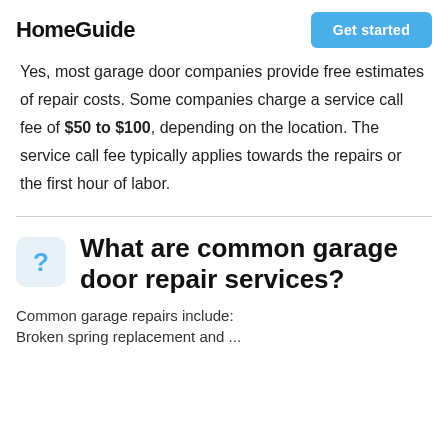HomeGuide | Get started
Yes, most garage door companies provide free estimates of repair costs. Some companies charge a service call fee of $50 to $100, depending on the location. The service call fee typically applies towards the repairs or the first hour of labor.
What are common garage door repair services?
Common garage repairs include: